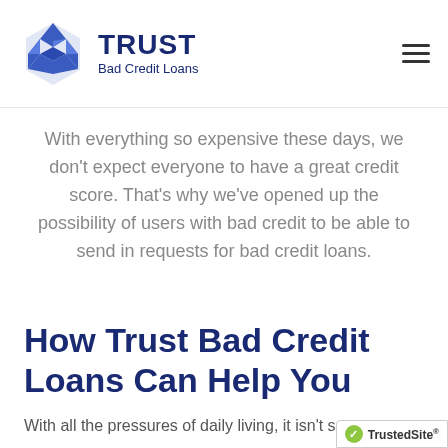TRUST Bad Credit Loans
With everything so expensive these days, we don't expect everyone to have a great credit score. That's why we've opened up the possibility of users with bad credit to be able to send in requests for bad credit loans.
How Trust Bad Credit Loans Can Help You
With all the pressures of daily living, it isn't s…